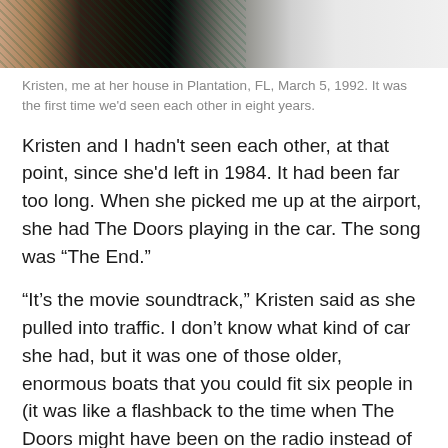[Figure (photo): Cropped bottom portion of a photo showing two people, one in a dark patterned top and one in a white top, at a house in Plantation, FL, March 5, 1992.]
Kristen, me at her house in Plantation, FL, March 5, 1992. It was the first time we'd seen each other in eight years.
Kristen and I hadn't seen each other, at that point, since she'd left in 1984. It had been far too long. When she picked me up at the airport, she had The Doors playing in the car. The song was “The End.”
“It’s the movie soundtrack,” Kristen said as she pulled into traffic. I don’t know what kind of car she had, but it was one of those older, enormous boats that you could fit six people in (it was like a flashback to the time when The Doors might have been on the radio instead of on cassette).